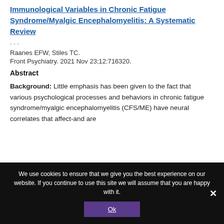Immunological Variables in Chronic Fatigue Syndrome/Myalgic Encephalomyelitis: A Systematic Review
...
Raanes EFW, Stiles TC.
Front Psychiatry. 2021 Nov 23;12:716320.
Abstract
Background: Little emphasis has been given to the fact that various psychological processes and behaviors in chronic fatigue syndrome/myalgic encephalomyelitis (CFS/ME) have neural correlates that affect-and are
We use cookies to ensure that we give you the best experience on our website. If you continue to use this site we will assume that you are happy with it.
Ok